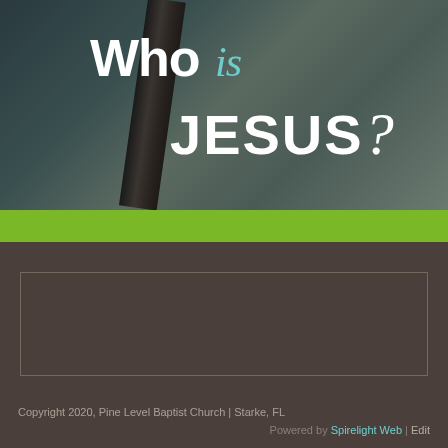[Figure (illustration): Book or sermon cover image with a wooden cross against a stormy gray-blue sky background, featuring the text 'Who is JESUS?' in large white and teal lettering]
Who is JESUS?
[Figure (infographic): Email subscription or contact form area with a gray envelope icon centered inside a bordered rectangle box]
Copyright 2020, Pine Level Baptist Church | Starke, FL
Powered by Spirelight Web | Edit